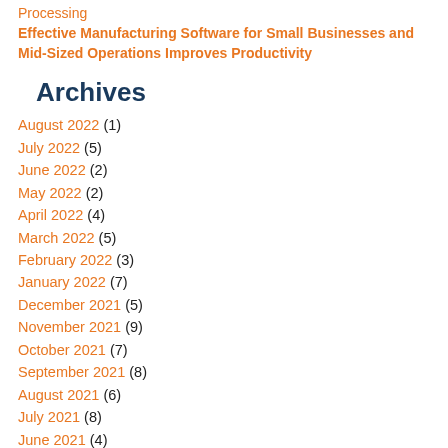Processing
Effective Manufacturing Software for Small Businesses and Mid-Sized Operations Improves Productivity
Archives
August 2022 (1)
July 2022 (5)
June 2022 (2)
May 2022 (2)
April 2022 (4)
March 2022 (5)
February 2022 (3)
January 2022 (7)
December 2021 (5)
November 2021 (9)
October 2021 (7)
September 2021 (8)
August 2021 (6)
July 2021 (8)
June 2021 (4)